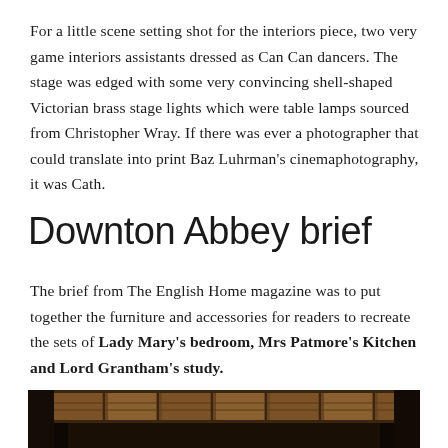For a little scene setting shot for the interiors piece, two very game interiors assistants dressed as Can Can dancers. The stage was edged with some very convincing shell-shaped Victorian brass stage lights which were table lamps sourced from Christopher Wray. If there was ever a photographer that could translate into print Baz Luhrman's cinemaphotography, it was Cath.
Downton Abbey brief
The brief from The English Home magazine was to put together the furniture and accessories for readers to recreate the sets of Lady Mary's bedroom, Mrs Patmore's Kitchen and Lord Grantham's study.
[Figure (photo): Bottom strip showing the interior of Downton Abbey, with ornate ceiling visible, dark wood paneling on sides, warm amber and brown tones.]